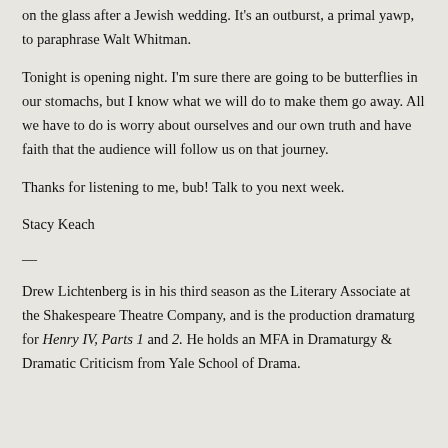on the glass after a Jewish wedding. It's an outburst, a primal yawp, to paraphrase Walt Whitman.
Tonight is opening night. I'm sure there are going to be butterflies in our stomachs, but I know what we will do to make them go away. All we have to do is worry about ourselves and our own truth and have faith that the audience will follow us on that journey.
Thanks for listening to me, bub! Talk to you next week.
Stacy Keach
—
Drew Lichtenberg is in his third season as the Literary Associate at the Shakespeare Theatre Company, and is the production dramaturg for Henry IV, Parts 1 and 2. He holds an MFA in Dramaturgy & Dramatic Criticism from Yale School of Drama.